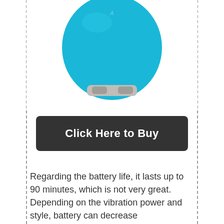[Figure (photo): A teal/blue rounded egg-shaped device with silver/grey buttons at the bottom, photographed on a white background]
Click Here to Buy
Regarding the battery life, it lasts up to 90 minutes, which is not very great. Depending on the vibration power and style, battery can decrease simultaneously. The Power feature is an add on and enhances the vibration modes.